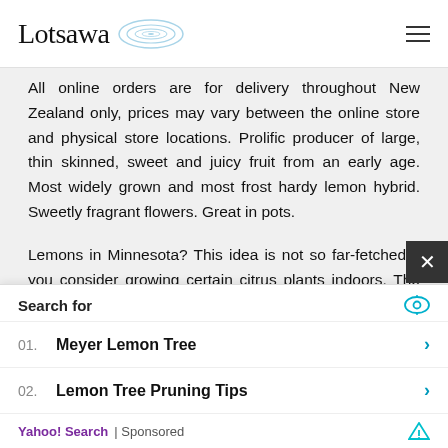Lotsawa
All online orders are for delivery throughout New Zealand only, prices may vary between the online store and physical store locations. Prolific producer of large, thin skinned, sweet and juicy fruit from an early age. Most widely grown and most frost hardy lemon hybrid. Sweetly fragrant flowers. Great in pots.

Lemons in Minnesota? This idea is not so far-fetched if you consider growing certain citrus plants indoors. The flowers and fruit
Search for
01.  Meyer Lemon Tree
02.  Lemon Tree Pruning Tips
Yahoo! Search | Sponsored